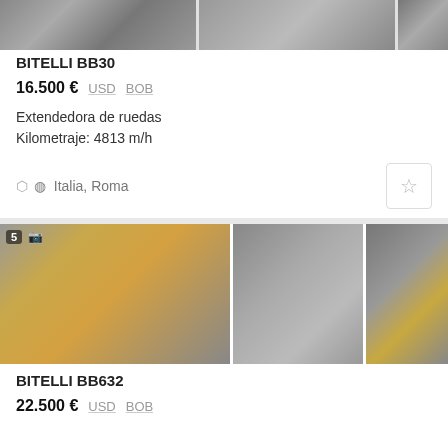[Figure (photo): Three partial photos of BITELLI BB30 machinery (excavator/milling parts) shown at top of listing]
BITELLI BB30
16.500 € USD BOB
Extendedora de ruedas
Kilometraje: 4813 m/h
Italia, Roma
[Figure (photo): Three photos of BITELLI BB632 wheeled paver: side view in warehouse (yellow machine), front view showing screed, and right-side machinery detail]
BITELLI BB632
22.500 € USD BOB